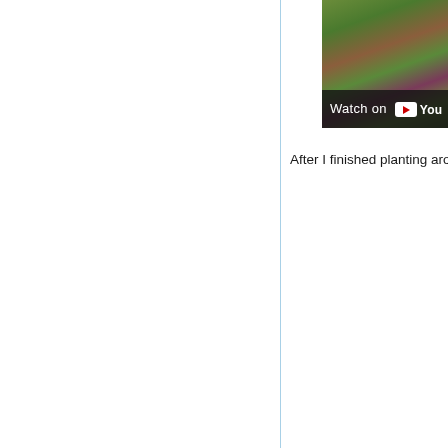[Figure (screenshot): YouTube video thumbnail showing plants with green and reddish-purple leaves. A 'Watch on YouTube' bar is overlaid at the bottom of the image.]
After I finished planting around 2